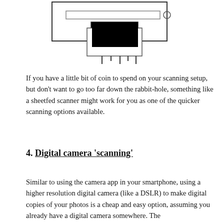[Figure (schematic): A top-down schematic diagram of a sheetfed scanner showing a rectangular body with a long horizontal slot/feed opening, a black rectangular scanning element below center, a small circle on the right side, and four vertical lines (rollers or pins) extending downward from the bottom.]
If you have a little bit of coin to spend on your scanning setup, but don’t want to go too far down the rabbit-hole, something like a sheetfed scanner might work for you as one of the quicker scanning options available.
4. Digital camera ‘scanning’
Similar to using the camera app in your smartphone, using a higher resolution digital camera (like a DSLR) to make digital copies of your photos is a cheap and easy option, assuming you already have a digital camera somewhere. The